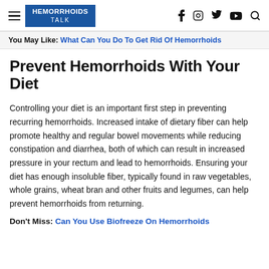HEMORRHOIDS TALK
You May Like: What Can You Do To Get Rid Of Hemorrhoids
Prevent Hemorrhoids With Your Diet
Controlling your diet is an important first step in preventing recurring hemorrhoids. Increased intake of dietary fiber can help promote healthy and regular bowel movements while reducing constipation and diarrhea, both of which can result in increased pressure in your rectum and lead to hemorrhoids. Ensuring your diet has enough insoluble fiber, typically found in raw vegetables, whole grains, wheat bran and other fruits and legumes, can help prevent hemorrhoids from returning.
Don't Miss: Can You Use Biofreeze On Hemorrhoids